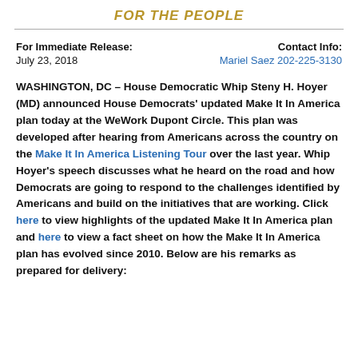FOR THE PEOPLE
For Immediate Release:
July 23, 2018
Contact Info:
Mariel Saez 202-225-3130
WASHINGTON, DC – House Democratic Whip Steny H. Hoyer (MD) announced House Democrats' updated Make It In America plan today at the WeWork Dupont Circle. This plan was developed after hearing from Americans across the country on the Make It In America Listening Tour over the last year. Whip Hoyer's speech discusses what he heard on the road and how Democrats are going to respond to the challenges identified by Americans and build on the initiatives that are working. Click here to view highlights of the updated Make It In America plan and here to view a fact sheet on how the Make It In America plan has evolved since 2010. Below are his remarks as prepared for delivery: